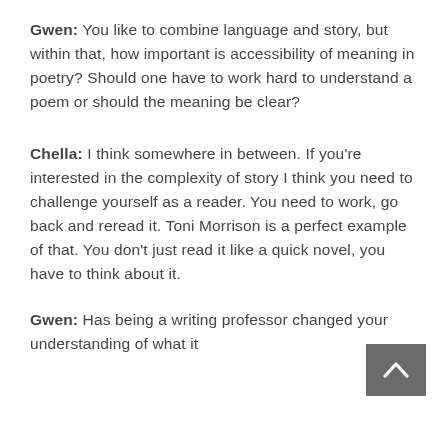Gwen: You like to combine language and story, but within that, how important is accessibility of meaning in poetry? Should one have to work hard to understand a poem or should the meaning be clear?
Chella: I think somewhere in between. If you're interested in the complexity of story I think you need to challenge yourself as a reader. You need to work, go back and reread it. Toni Morrison is a perfect example of that. You don't just read it like a quick novel, you have to think about it.
Gwen: Has being a writing professor changed your understanding of what it